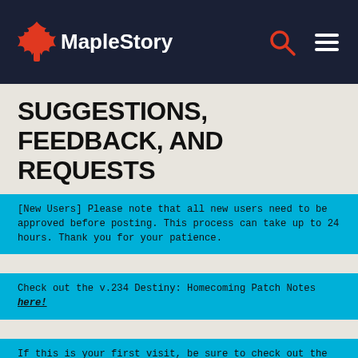MapleStory
SUGGESTIONS, FEEDBACK, AND REQUESTS
[New Users] Please note that all new users need to be approved before posting. This process can take up to 24 hours. Thank you for your patience.
Check out the v.234 Destiny: Homecoming Patch Notes here!
If this is your first visit, be sure to check out the Forums Code of Conduct: https://forums.maplestory.nexon.net/discussion/29556/code-of-conducts
*NEW* Cash Shop Suggestions Thread